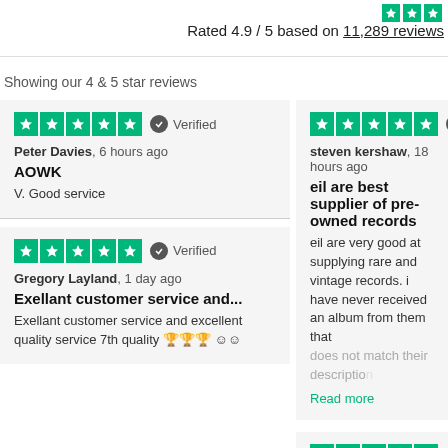Rated 4.9 / 5 based on 11,289 reviews
Showing our 4 & 5 star reviews
Peter Davies, 6 hours ago
AOWK
V. Good service
steven kershaw, 18 hours ago
eil are best supplier of pre-owned records
eil are very good at supplying rare and vintage records. i have never received an album from them that does not match their description
Gregory Layland, 1 day ago
Exellant customer service and...
Exellant customer service and excellent quality service 7th quality 🏆🏆🏆☺☺
Mike Reagan, 2 days ago
Excellent